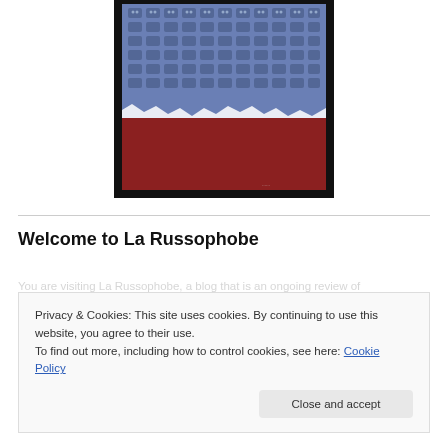[Figure (illustration): Framed artwork showing rows of blue robot-like figures on top half and solid dark red on bottom half, with a jagged white boundary between them, on a black background. Artist signature at bottom right.]
Welcome to La Russophobe
You are visiting La Russophobe, a blog that is an ongoing review of...
Privacy & Cookies: This site uses cookies. By continuing to use this website, you agree to their use.
To find out more, including how to control cookies, see here: Cookie Policy